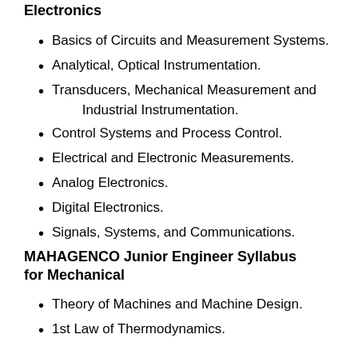Electronics
Basics of Circuits and Measurement Systems.
Analytical, Optical Instrumentation.
Transducers, Mechanical Measurement and Industrial Instrumentation.
Control Systems and Process Control.
Electrical and Electronic Measurements.
Analog Electronics.
Digital Electronics.
Signals, Systems, and Communications.
MAHAGENCO Junior Engineer Syllabus for Mechanical
Theory of Machines and Machine Design.
1st Law of Thermodynamics.